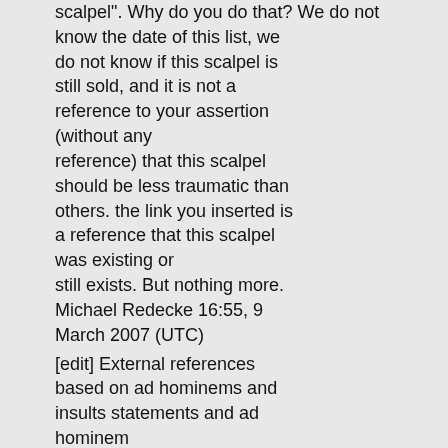scalpel". Why do you do that? We do not know the date of this list, we do not know if this scalpel is still sold, and it is not a reference to your assertion (without any reference) that this scalpel should be less traumatic than others. the link you inserted is a reference that this scalpel was existing or still exists. But nothing more. Michael Redecke 16:55, 9 March 2007 (UTC)
[edit] External references based on ad hominems and insults statements and ad hominem justification
I have removed this external reference: Wehrhafte Medizin! One of the large international sites about charlatanism and